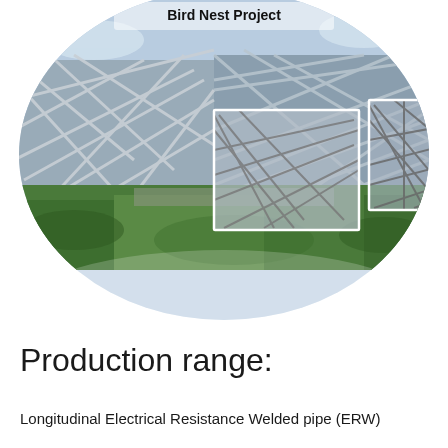Bird Nest Project
[Figure (photo): Circular-cropped photograph of the Beijing National Stadium (Bird's Nest) showing its distinctive steel lattice facade structure. Two white-bordered inset boxes highlight close-up details of the steel framework. Green grass visible in foreground.]
Production range:
Longitudinal Electrical Resistance Welded pipe (ERW)